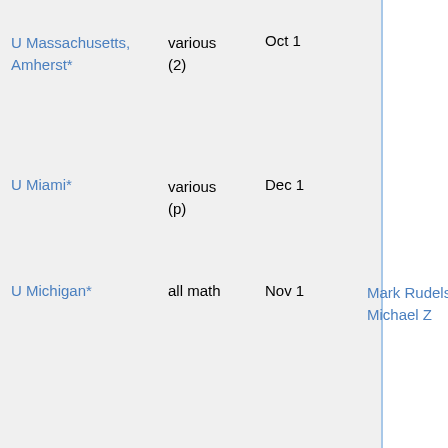| Institution | Area | Deadline | and offer |
| --- | --- | --- | --- |
| U Massachusetts, Amherst* | various (2) | Oct 1 |  |
| U Miami* | various (p) | Dec 1 |  |
| U Michigan* | all math | Nov 1 | Mark Rudelson, David Speyer, Michael Z... |
| U Minnesota* | all math (3) | Dec 1 | jeopardize... |
| U Nebraska* | analysis | Dec 5 | Frozen |
| U Nebraska* | biomath | Dec 5 |  |
| U North Carolina, Chapel Hill* | geom, algebra | Dec 1 |  |
| U North Carolina, Charlotte* | comp math | Dec 1 |  |
| U North Texas* | logic | Dec 1 |  |